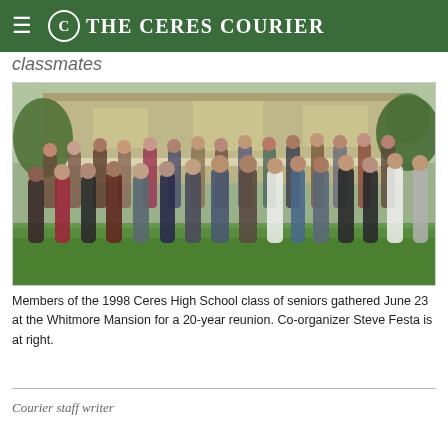The Ceres Courier
classmates
[Figure (photo): Group photo of members of the 1998 Ceres High School class of seniors gathered at the Whitmore Mansion for a 20-year reunion, standing on a green lawn in front of a Victorian-style house.]
Members of the 1998 Ceres High School class of seniors gathered June 23 at the Whitmore Mansion for a 20-year reunion. Co-organizer Steve Festa is at right.
Courier staff writer